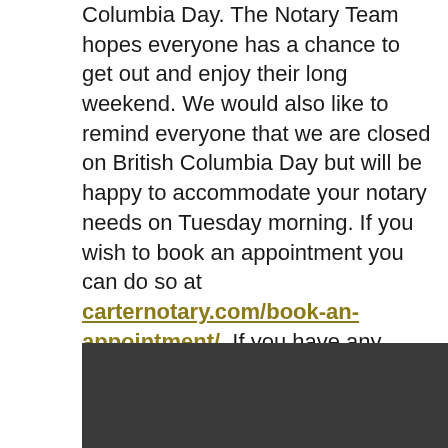Columbia Day. The Notary Team hopes everyone has a chance to get out and enjoy their long weekend. We would also like to remind everyone that we are closed on British Columbia Day but will be happy to accommodate your notary needs on Tuesday morning. If you wish to book an appointment you can do so at carternotary.com/book-an-appointment/. If you have any questions, feel free to send us an email at hello@carternotary.com
We hope everyone has an amazing day.
[Figure (photo): Dark grey/charcoal colored image block at the bottom of the page]